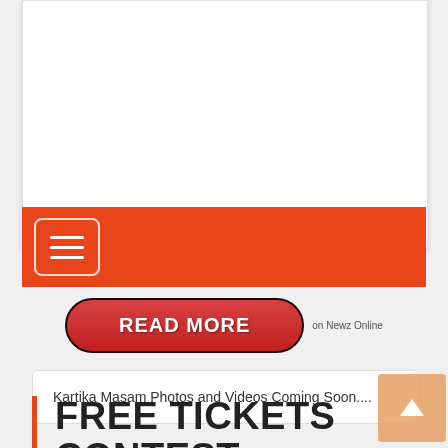[Figure (screenshot): White card area with orange top accent bar and orange navigation bar containing hamburger menu icon]
[Figure (other): Red pill-shaped READ MORE button with 'on Newz Online' text to the right]
Kartika Masam Photos and Videos Coming Soon....
FREE TICKETS CONTEST